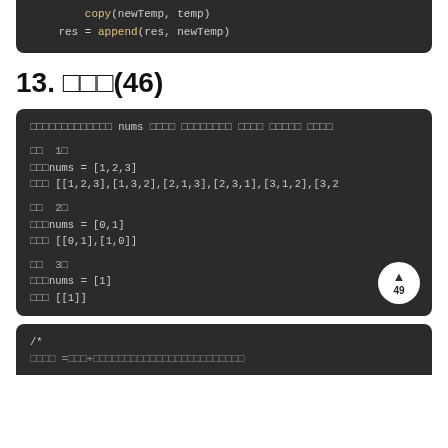[Figure (screenshot): Code block showing copy(newTemp, temp) and res = append(res, newTemp) in dark theme]
13. □□□(46)
[Figure (screenshot): Dark theme code block showing examples with nums arrays and their permutation outputs, with page badge 49]
[Figure (screenshot): Dark theme code block beginning with /* comment]